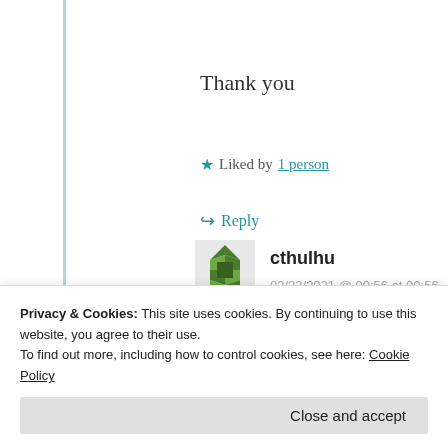Thank you
★ Liked by 1 person
↳ Reply
cthulhu
02/22/2021 @ 00:56 at 00:56
Privacy & Cookies: This site uses cookies. By continuing to use this website, you agree to their use.
To find out more, including how to control cookies, see here: Cookie Policy
Close and accept